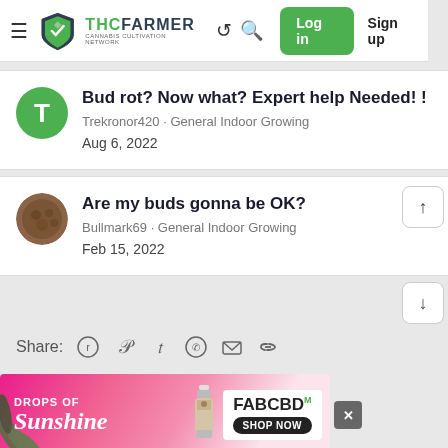THCFarmer - Cannabis Cultivation Network - Log in - Sign up
Bud rot? Now what? Expert help Needed! !
Trekronor420 · General Indoor Growing
Aug 6, 2022
Are my buds gonna be OK?
Bullmark69 · General Indoor Growing
Feb 15, 2022
Share:
[Figure (screenshot): FABCBD advertisement banner - DROPS OF Sunshine - FABCBD M - SHOP NOW]